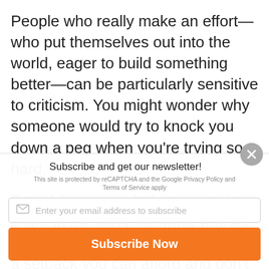People who really make an effort—who put themselves out into the world, eager to build something better—can be particularly sensitive to criticism. You might wonder why someone would try to knock you down a peg when you're trying so hard.
But while you might be tempted to linger in the sting, allowing yourself to be wounded by criticism is likely a setback you can afford and don't need. So what can you
Subscribe and get our newsletter!
This site is protected by reCAPTCHA and the Google Privacy Policy and Terms of Service apply
Enter your email address to subscribe
Subscribe Now